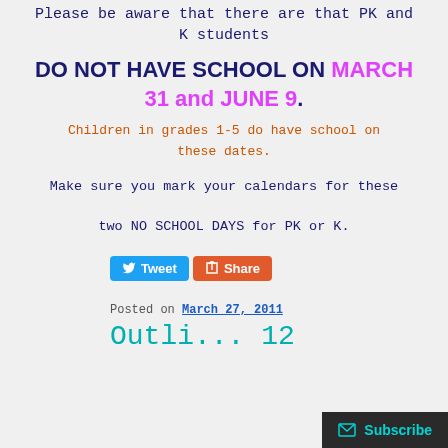Please be aware that there are that PK and K students
DO NOT HAVE SCHOOL ON MARCH 31 and JUNE 9.
Children in grades 1-5 do have school on these dates.
Make sure you mark your calendars for these two NO SCHOOL DAYS for PK or K.
Tweet | Share
Posted on March 27, 2011
Subscribe